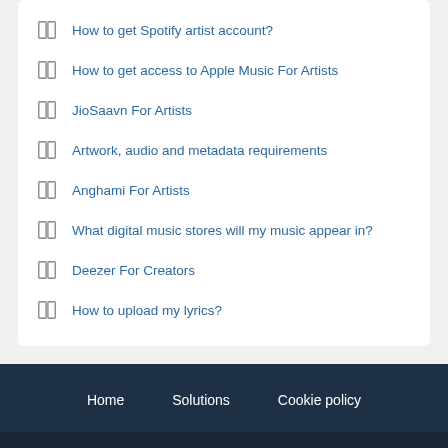How to get Spotify artist account?
How to get access to Apple Music For Artists
JioSaavn For Artists
Artwork, audio and metadata requirements
Anghami For Artists
What digital music stores will my music appear in?
Deezer For Creators
How to upload my lyrics?
Home   Solutions   Cookie policy
Help Desk Software by Freshdesk Support Desk